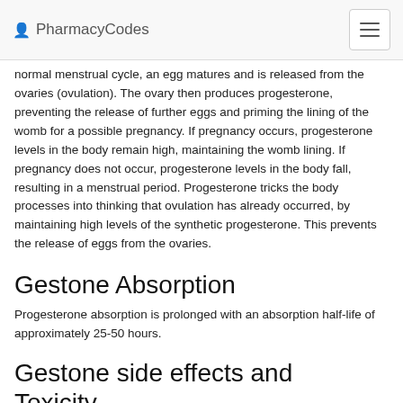PharmacyCodes
normal menstrual cycle, an egg matures and is released from the ovaries (ovulation). The ovary then produces progesterone, preventing the release of further eggs and priming the lining of the womb for a possible pregnancy. If pregnancy occurs, progesterone levels in the body remain high, maintaining the womb lining. If pregnancy does not occur, progesterone levels in the body fall, resulting in a menstrual period. Progesterone tricks the body processes into thinking that ovulation has already occurred, by maintaining high levels of the synthetic progesterone. This prevents the release of eggs from the ovaries.
Gestone Absorption
Progesterone absorption is prolonged with an absorption half-life of approximately 25-50 hours.
Gestone side effects and Toxicity